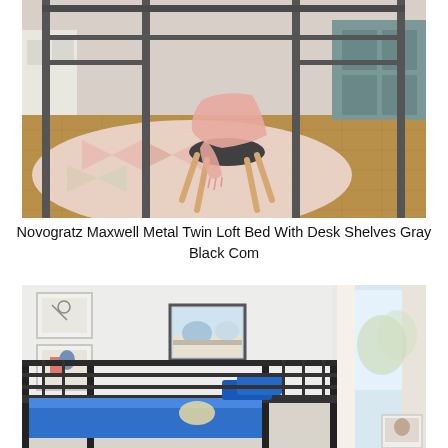[Figure (photo): Close-up photo of a metal loft bed frame (gray/dark metal) with a colorful pink and white geometric patterned rug on a hardwood parquet floor. A pink draped throw blanket and a round stool with wooden legs are visible underneath the bed frame. A teal/sage dresser is partially visible in the background.]
Novogratz Maxwell Metal Twin Loft Bed With Desk Shelves Gray Black Com
[Figure (photo): Photo of a black metal bunk bed / loft bed frame in a light-colored bedroom. The bed has blue bedding with blue pillows. Two framed artworks hang on the wall to the left. A framed landscape painting hangs on the center wall. A bright window with white curtains is visible on the right. A small framed photo is visible at the bottom right.]